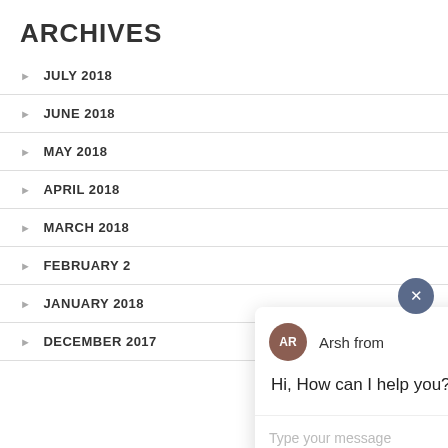ARCHIVES
JULY 2018
JUNE 2018
MAY 2018
APRIL 2018
MARCH 2018
FEBRUARY 2
JANUARY 2018
DECEMBER 2017
[Figure (screenshot): Chat widget popup with agent avatar showing initials AR, agent name 'Arsh from', message 'Hi, How can I help you?' and a text input field with placeholder 'Type your message']